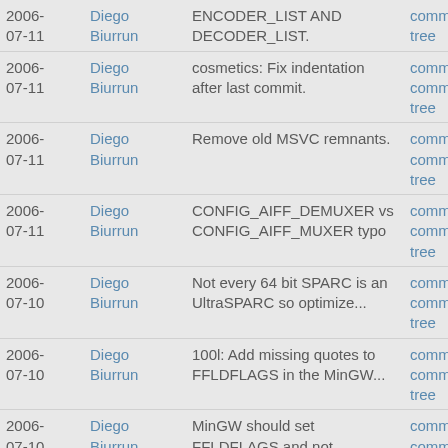| date | author | description | links |
| --- | --- | --- | --- |
| 2006-07-11 | Diego Biurrun | ... ENCODER_LIST AND DECODER_LIST. | commit | commitdiff | tree |
| 2006-07-11 | Diego Biurrun | cosmetics: Fix indentation after last commit. | commit | commitdiff | tree |
| 2006-07-11 | Diego Biurrun | Remove old MSVC remnants. | commit | commitdiff | tree |
| 2006-07-11 | Diego Biurrun | CONFIG_AIFF_DEMUXER vs CONFIG_AIFF_MUXER typo | commit | commitdiff | tree |
| 2006-07-10 | Diego Biurrun | Not every 64 bit SPARC is an UltraSPARC so optimize... | commit | commitdiff | tree |
| 2006-07-10 | Diego Biurrun | 100l: Add missing quotes to FFLDFLAGS in the MinGW... | commit | commitdiff | tree |
| 2006-07-10 | Diego Biurrun | MinGW should set FFLDFLAGS and not LDFLAGS so that... | commit | commitdiff | tree |
| 2006-07-... | Diego ... | Move MinGW section before the... | commit | |